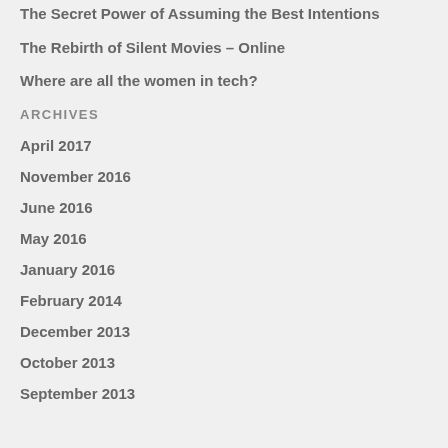The Secret Power of Assuming the Best Intentions
The Rebirth of Silent Movies – Online
Where are all the women in tech?
ARCHIVES
April 2017
November 2016
June 2016
May 2016
January 2016
February 2014
December 2013
October 2013
September 2013